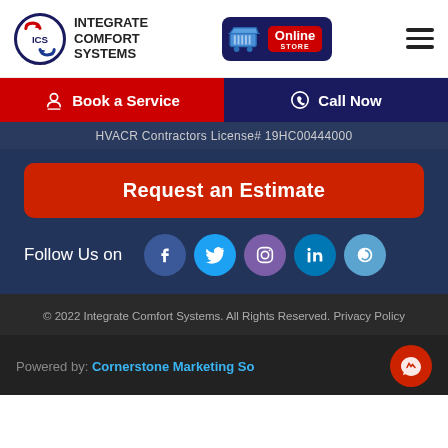[Figure (logo): ICS Integrate Comfort Systems logo with circular emblem and text]
[Figure (logo): Online Store button with shopping cart icon]
Book a Service
Call Now
HVACR Contractors License# 19HC00444000
Request an Estimate
Follow Us on
© 2022 Integrate Comfort Systems. All Rights Reserved. Privacy Policy
Powered by: Cornerstone Marketing So...